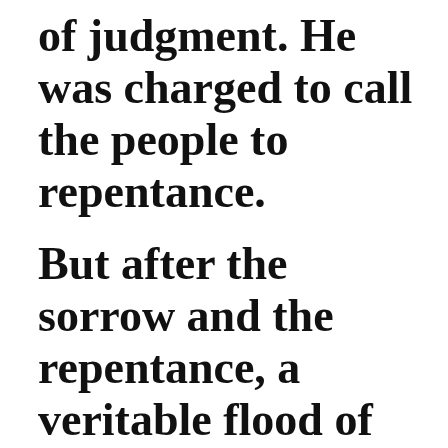of judgment. He was charged to call the people to repentance.
But after the sorrow and the repentance, a veritable flood of laughter rushes out: